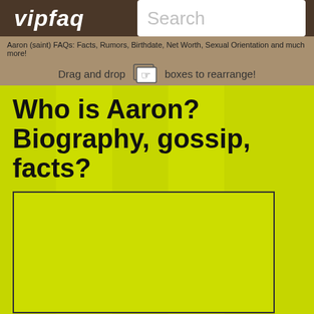vipfaq
Aaron (saint) FAQs: Facts, Rumors, Birthdate, Net Worth, Sexual Orientation and much more!
Drag and drop boxes to rearrange!
Who is Aaron? Biography, gossip, facts?
[Figure (other): Empty bordered image placeholder box]
Aaron is a saint of the Coptic Church. He has an annual feast in that church on October 19.